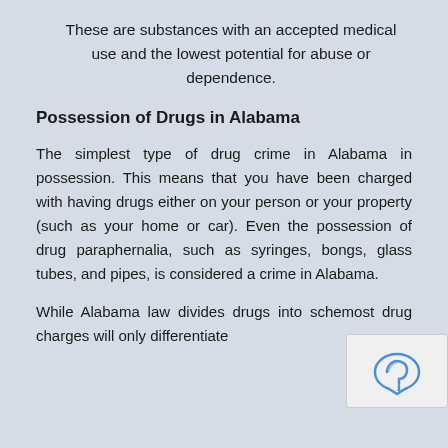These are substances with an accepted medical use and the lowest potential for abuse or dependence.
Possession of Drugs in Alabama
The simplest type of drug crime in Alabama in possession. This means that you have been charged with having drugs either on your person or your property (such as your home or car). Even the possession of drug paraphernalia, such as syringes, bongs, glass tubes, and pipes, is considered a crime in Alabama.
While Alabama law divides drugs into sche most drug charges will only differentiate